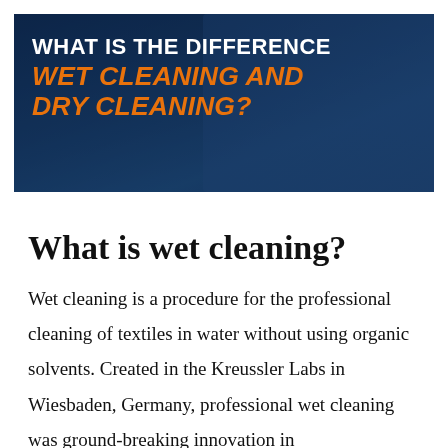[Figure (photo): Hero banner image showing a person in blue clothing with dark blue overlay. Text overlay reads 'WHAT IS THE DIFFERENCE' in white and 'WET CLEANING AND DRY CLEANING?' in orange italic bold text.]
What is wet cleaning?
Wet cleaning is a procedure for the professional cleaning of textiles in water without using organic solvents. Created in the Kreussler Labs in Wiesbaden, Germany, professional wet cleaning was ground-breaking innovation in